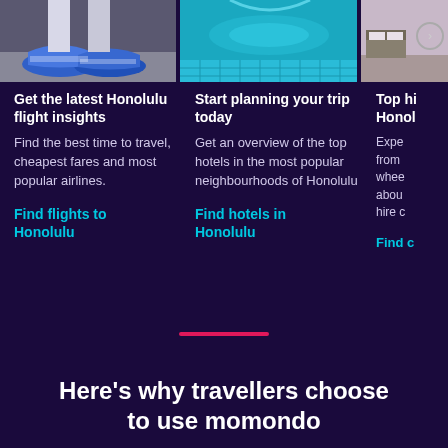[Figure (photo): Partial image of person wearing blue sneakers]
[Figure (photo): Swimming pool with blue water]
[Figure (photo): Partial image of hotel room interior]
Get the latest Honolulu flight insights
Find the best time to travel, cheapest fares and most popular airlines.
Find flights to Honolulu
Start planning your trip today
Get an overview of the top hotels in the most popular neighbourhoods of Honolulu
Find hotels in Honolulu
Top hi... Honol...
Expe... from... whee... abou... hire c...
Find c...
Here's why travellers choose to use momondo